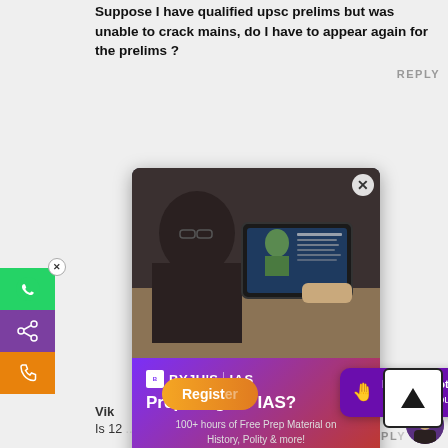Suppose I have qualified upsc prelims but was unable to crack mains, do I have to appear again for the prelims ?
REPLY
[Figure (screenshot): BYJU'S IAS advertisement popup showing a person studying on a tablet, with text 'Preparing for IAS? 100+ hours of Free Prep Material on History, Polity & more!' and a Register button. Overlaid chat bubble says 'Hi there! Got any questions? I can help you...']
Vik
Is 12 document varification.
REPLY